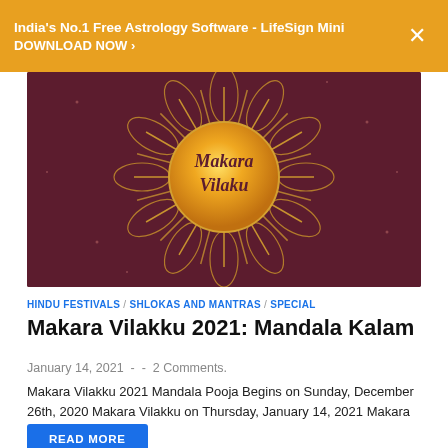India's No.1 Free Astrology Software - LifeSign Mini DOWNLOAD NOW ›
[Figure (illustration): Makara Vilakku decorative banner image with a golden sun/mandala design containing the text 'Makara Vilaku' in script font, on a dark maroon background with ornate geometric patterns.]
HINDU FESTIVALS / SHLOKAS AND MANTRAS / SPECIAL
Makara Vilakku 2021: Mandala Kalam
January 14, 2021  -  -  2 Comments.
Makara Vilakku 2021 Mandala Pooja Begins on Sunday, December 26th, 2020 Makara Vilakku on Thursday, January 14, 2021 Makara Vilakku …
READ MORE